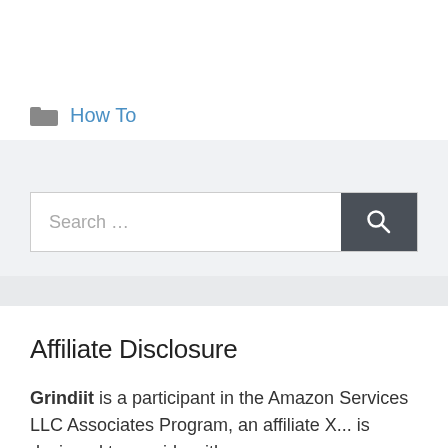How To
[Figure (screenshot): Search bar with text 'Search …' and a dark grey search button with magnifying glass icon]
Affiliate Disclosure
Grindiit is a participant in the Amazon Services LLC Associates Program, an affiliate X...